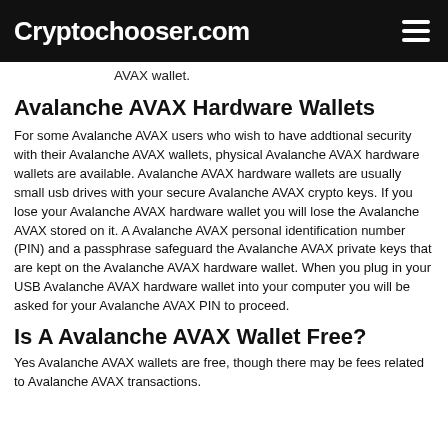Cryptochooser.com
AVAX wallet.
Avalanche AVAX Hardware Wallets
For some Avalanche AVAX users who wish to have addtional security with their Avalanche AVAX wallets, physical Avalanche AVAX hardware wallets are available. Avalanche AVAX hardware wallets are usually small usb drives with your secure Avalanche AVAX crypto keys. If you lose your Avalanche AVAX hardware wallet you will lose the Avalanche AVAX stored on it. A Avalanche AVAX personal identification number (PIN) and a passphrase safeguard the Avalanche AVAX private keys that are kept on the Avalanche AVAX hardware wallet. When you plug in your USB Avalanche AVAX hardware wallet into your computer you will be asked for your Avalanche AVAX PIN to proceed.
Is A Avalanche AVAX Wallet Free?
Yes Avalanche AVAX wallets are free, though there may be fees related to Avalanche AVAX transactions.